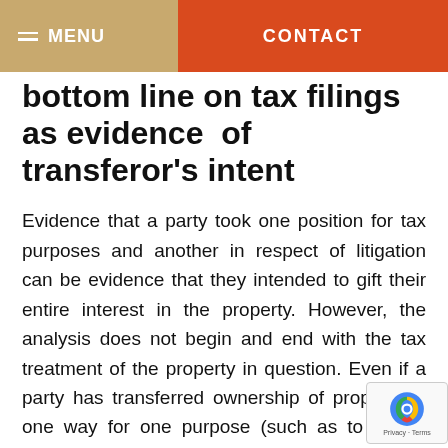MENU  CONTACT
bottom line on tax filings as evidence of transferor's intent
Evidence that a party took one position for tax purposes and another in respect of litigation can be evidence that they intended to gift their entire interest in the property. However, the analysis does not begin and end with the tax treatment of the property in question. Even if a party has transferred ownership of property in one way for one purpose (such as to defeat creditors), a resulting trust claim is not precluded. The question remains one of transferor's intent at the time of the transfer.